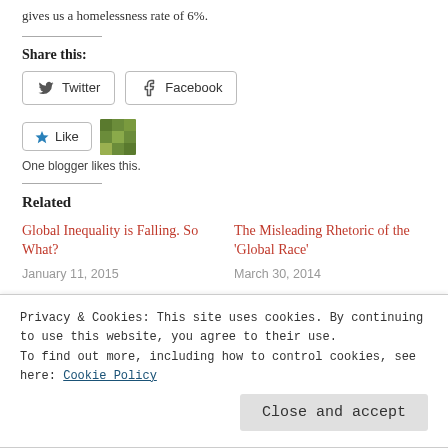gives us a homelessness rate of 6%.
Share this:
Twitter  Facebook
Like  One blogger likes this.
Related
Global Inequality is Falling. So What?
January 11, 2015
The Misleading Rhetoric of the 'Global Race'
March 30, 2014
Privacy & Cookies: This site uses cookies. By continuing to use this website, you agree to their use.
To find out more, including how to control cookies, see here: Cookie Policy
Close and accept